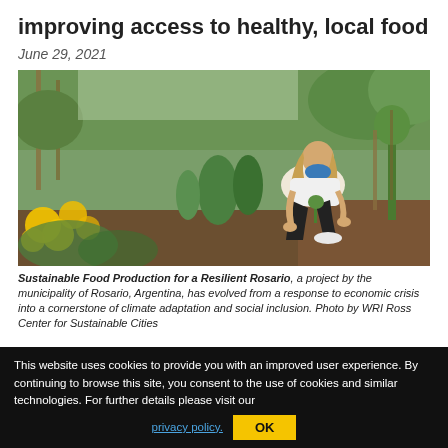improving access to healthy, local food
June 29, 2021
[Figure (photo): A woman wearing a blue mask and white shirt crouching in a garden, planting or tending to plants. Yellow flowers are visible in the foreground and green vegetation in the background.]
Sustainable Food Production for a Resilient Rosario, a project by the municipality of Rosario, Argentina, has evolved from a response to economic crisis into a cornerstone of climate adaptation and social inclusion. Photo by WRI Ross Center for Sustainable Cities
This website uses cookies to provide you with an improved user experience. By continuing to browse this site, you consent to the use of cookies and similar technologies. For further details please visit our privacy policy.